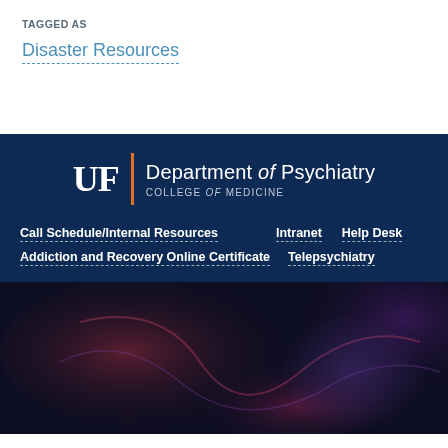TAGGED AS
Disaster Resources
[Figure (logo): UF Department of Psychiatry, College of Medicine logo with orange vertical bar divider on navy background]
Call Schedule/Internal Resources
Intranet
Help Desk
Addiction and Recovery Online Certificate
Telepsychiatry
[Figure (photo): Abstract dark background with purple, red, and magenta blurred light streaks]